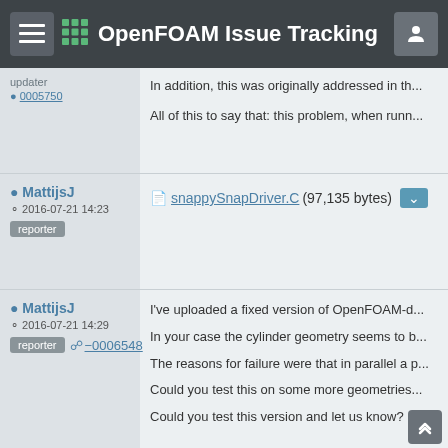OpenFOAM Issue Tracking
In addition, this was originally addressed in th...
All of this to say that: this problem, when runn...
MattijsJ
2016-07-21 14:23
reporter
snappySnapDriver.C (97,135 bytes)
MattijsJ
2016-07-21 14:29
reporter
-0006548
I've uploaded a fixed version of OpenFOAM-d...
In your case the cylinder geometry seems to b...
The reasons for failure were that in parallel a p...
Could you test this on some more geometries...
Could you test this version and let us know?